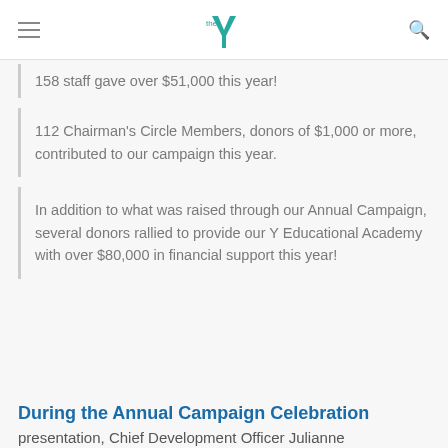YMCA
158 staff gave over $51,000 this year!
112 Chairman's Circle Members, donors of $1,000 or more, contributed to our campaign this year.
In addition to what was raised through our Annual Campaign, several donors rallied to provide our Y Educational Academy with over $80,000 in financial support this year!
During the Annual Campaign Celebration presentation, Chief Development Officer Julianne